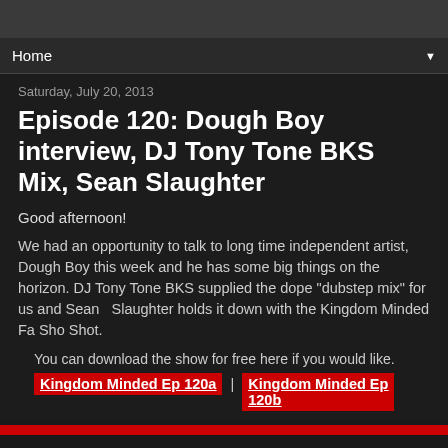Home ▼
Saturday, July 20, 2013
Episode 120: Dough Boy interview, DJ Tony Tone BKS Mix, Sean Slaughter
Good afternoon!
We had an opportunity to talk to long time independent artist, Dough Boy this week and he has some big things on the horizon. DJ Tony Tone BKS supplied the dope "dubstep mix" for us and Sean  Slaughter holds it down with the Kingdom Minded Fa Sho Shot.
You can download the show for free here if you would like.
Kingdom Minded Ep 120a  |  Kingdom Minded Ep 120b